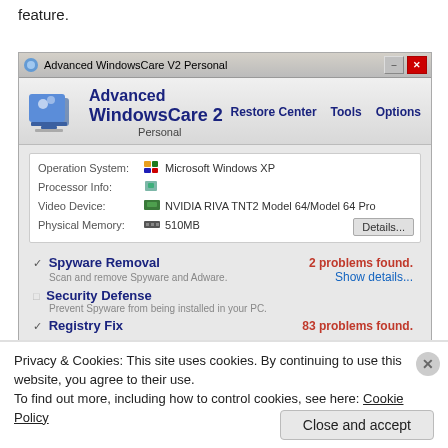feature.
[Figure (screenshot): Screenshot of Advanced WindowsCare V2 Personal application showing system info (Operation System: Microsoft Windows XP, Processor Info, Video Device: NVIDIA RIVA TNT2 Model 64/Model 64 Pro, Physical Memory: 510MB) and feature list (Spyware Removal - 2 problems found, Security Defense, Registry Fix - 83 problems found)]
Privacy & Cookies: This site uses cookies. By continuing to use this website, you agree to their use.
To find out more, including how to control cookies, see here: Cookie Policy
Close and accept